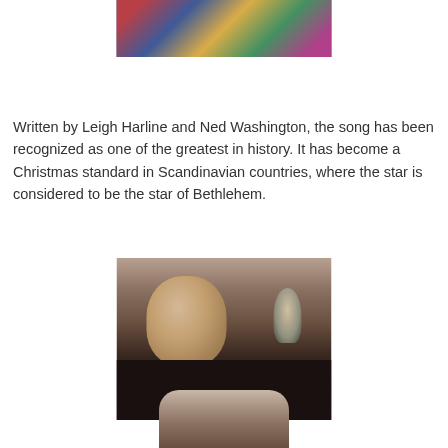[Figure (photo): Colorful animated scene with cartoon characters, appears to be from an animated film with bright colors on dark background]
Written by Leigh Harline and Ned Washington, the song has been recognized as one of the greatest in history. It has become a Christmas standard in Scandinavian countries, where the star is considered to be the star of Bethlehem.
[Figure (photo): Black and white vintage photograph of a man in formal attire with a bow tie, standing in front of a microphone]
[Figure (photo): Black and white photograph of a person, partially visible at bottom of page]